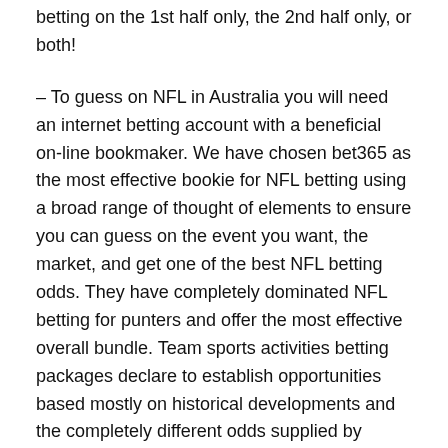betting on the 1st half only, the 2nd half only, or both!
– To guess on NFL in Australia you will need an internet betting account with a beneficial on-line bookmaker. We have chosen bet365 as the most effective bookie for NFL betting using a broad range of thought of elements to ensure you can guess on the event you want, the market, and get one of the best NFL betting odds. They have completely dominated NFL betting for punters and offer the most effective overall bundle. Team sports activities betting packages declare to establish opportunities based mostly on historical developments and the completely different odds supplied by varied bookmakers. Horse racing software will often declare that predictions are based on weather conditions, the state of the horse, the draw, or the condition of the jockey. They may also declare to track the cash that has been placed on a race by skilled betters. Following community considerations raised in these inquiries, Australian authorities stress led to amendments to broadcast